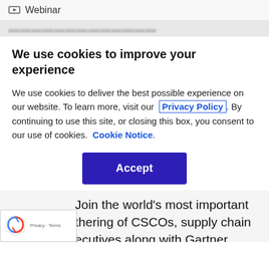Webinar
We use cookies to improve your experience
We use cookies to deliver the best possible experience on our website. To learn more, visit our Privacy Policy. By continuing to use this site, or closing this box, you consent to our use of cookies. Cookie Notice.
Accept
Join the world's most important gathering of CSCOs, supply chain executives along with Gartner